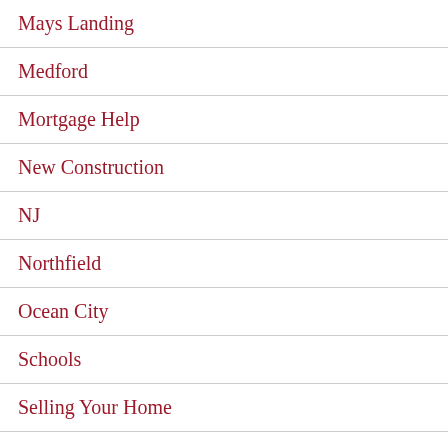Mays Landing
Medford
Mortgage Help
New Construction
NJ
Northfield
Ocean City
Schools
Selling Your Home
Short Sales
Smithville